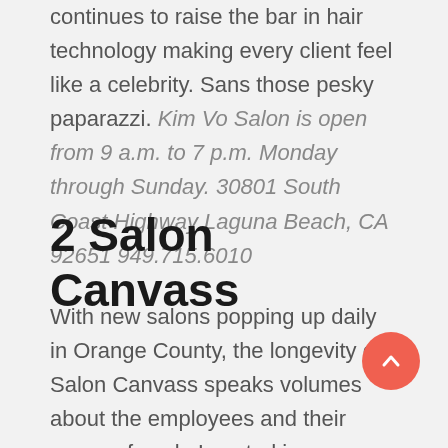continues to raise the bar in hair technology making every client feel like a celebrity. Sans those pesky paparazzi. Kim Vo Salon is open from 9 a.m. to 7 p.m. Monday through Sunday. 30801 South Coast Highway Laguna Beach, CA 92651 949.715.6010
2 Salon Canvass
With new salons popping up daily in Orange County, the longevity of Salon Canvass speaks volumes about the employees and their scope of work. Located in Huntington Beach, Salon Canvass just celebrated its 20th anniversary, and shows no signs of stopping. Salon A devotes Providing